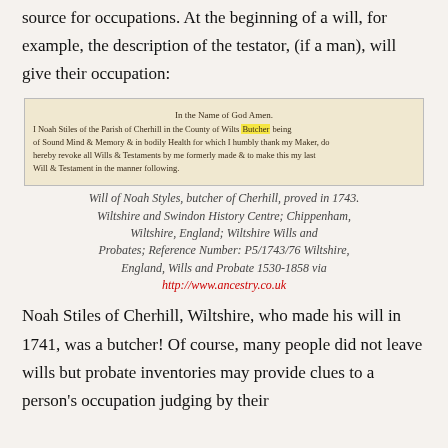source for occupations. At the beginning of a will, for example, the description of the testator, (if a man), will give their occupation:
[Figure (photo): Handwritten historical will document on aged paper, beginning 'In the Name of God Amen. I Noah Stiles of the Parish of Cherhill in the County of Wilts Butcher being of Sound Mind & Memory & in bodily Health for which I humbly thank my Maker, do hereby revoke all Wills & Testaments by me formerly made & to make this my last Will & Testament in the manner following.']
Will of Noah Styles, butcher of Cherhill, proved in 1743. Wiltshire and Swindon History Centre; Chippenham, Wiltshire, England; Wiltshire Wills and Probates; Reference Number: P5/1743/76 Wiltshire, England, Wills and Probate 1530-1858 via http://www.ancestry.co.uk
Noah Stiles of Cherhill, Wiltshire, who made his will in 1741, was a butcher! Of course, many people did not leave wills but probate inventories may provide clues to a person's occupation judging by their